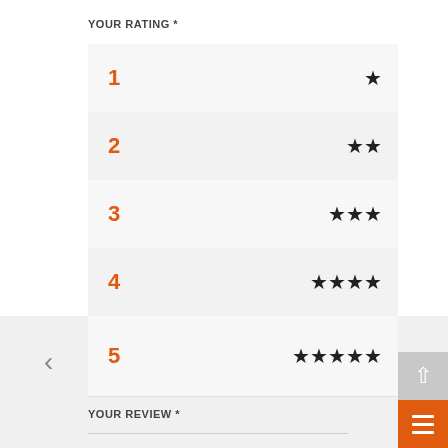YOUR RATING *
1 ★
2 ★★
3 ★★★
4 ★★★★
5 ★★★★★
YOUR REVIEW *
[Figure (screenshot): Scroll-to-top button (up arrow on gray background) and hamburger menu button (three horizontal lines on orange background) in bottom-right corner]